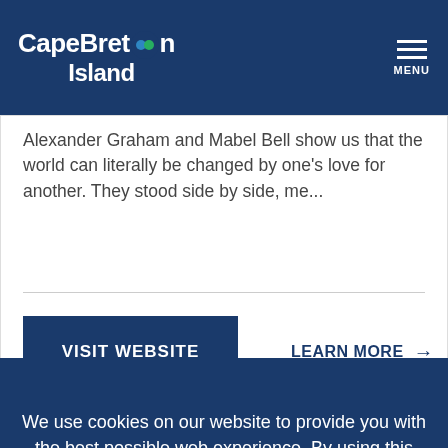Cape Breton Island | MENU
Alexander Graham and Mabel Bell show us that the world can literally be changed by one's love for another. They stood side by side, me...
VISIT WEBSITE
LEARN MORE →
We use cookies on our website to provide you with the best possible web experience. By using this website, you consent to the use of all cookies.
ACCEPT